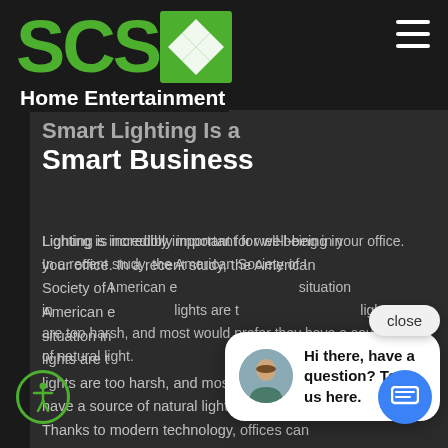[Figure (logo): SCSA logo with large green letters and a diamond/checker pattern icon in a green square]
Home Entertainment
Smart Lighting Is a Smart Business
Lighting is incredibly important for well-being in your office. In a recent study, the American Society of [Interior...] American e[mployees...] situation in[...] lights are t[oo dim...] lights are too harsh, and most would prefer they have a source of natural light.
[Figure (screenshot): Chat popup widget with avatar photo of a woman and text: Hi there, have a question? Text us here. Close button visible. Blue chat launcher button at bottom right. Green accessibility button at bottom left.]
Thanks to modern technology, offices can